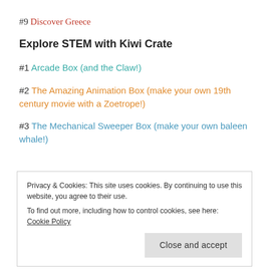#9 Discover Greece
Explore STEM with Kiwi Crate
#1 Arcade Box (and the Claw!)
#2 The Amazing Animation Box (make your own 19th century movie with a Zoetrope!)
#3 The Mechanical Sweeper Box (make your own baleen whale!)
Privacy & Cookies: This site uses cookies. By continuing to use this website, you agree to their use. To find out more, including how to control cookies, see here: Cookie Policy